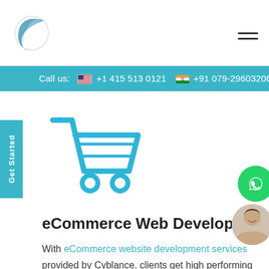Cyblance logo and navigation menu
Call us: +1 415 513 0121  +91 079-29603206
[Figure (illustration): Blue shopping cart icon with two wheels]
eCommerce Web Developers
With eCommerce website development services provided by Cyblance, clients get high performing stores with trending features and state-of-the-art storefronts and service pages. We are thorough with numerous eCommerce development platforms such as Wix, Shopify and Weebly, and plugins like WooCommerce. In-depth know-how of technologies such as HTML5, CSS3, and PHP lets us create responsive and custom online malls that deliver a